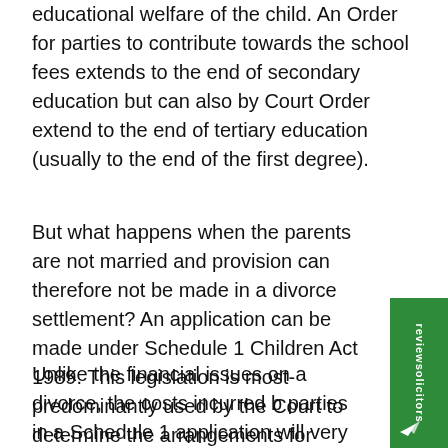educational welfare of the child. An Order for parties to contribute towards the school fees extends to the end of secondary education but can also by Court Order extend to the end of tertiary education (usually to the end of the first degree).
But what happens when the parents are not married and provision can therefore not be made in a divorce settlement? An application can be made under Schedule 1 Children Act 1989. This legislation is most-predominantly used by the Court to determine the arrangements for children, but Schedule 1 allows for financial provision.
Unlike the financial issues on a divorce, the costs incurred by parties in a Schedule 1 application will very often follow the event. This makes it financially onerous to proceed unless one has a good chance of success. This is one reason why